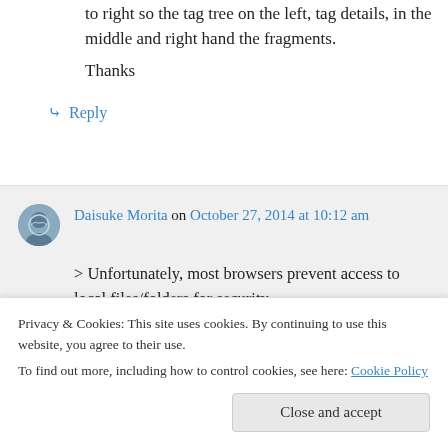to right so the tag tree on the left, tag details in the middle and right hand the fragments.
Thanks
↳ Reply
Daisuke Morita on October 27, 2014 at 10:12 am
> Unfortunately, most browsers prevent access to local files/folders for security
Privacy & Cookies: This site uses cookies. By continuing to use this website, you agree to their use.
To find out more, including how to control cookies, see here: Cookie Policy
Close and accept